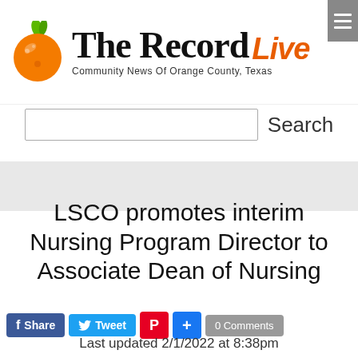[Figure (logo): The Record Live newspaper logo with orange fruit graphic and tagline 'Community News Of Orange County, Texas']
Search
LSCO promotes interim Nursing Program Director to Associate Dean of Nursing
Share  Tweet  0 Comments
Last updated 2/1/2022 at 8:38pm